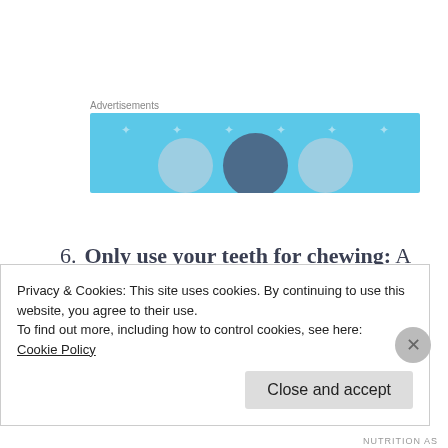[Figure (illustration): Advertisement banner with light blue background, decorative stars/dots, and three circular head silhouettes along the bottom edge. Labeled 'Advertisements' above.]
6. Only use your teeth for chewing: A lot of people have the bad habit of opening bottles, cracking nuts or seeds, ripping open packages, and doing other things
Privacy & Cookies: This site uses cookies. By continuing to use this website, you agree to their use.
To find out more, including how to control cookies, see here:
Cookie Policy
Close and accept
NUTRITION AS